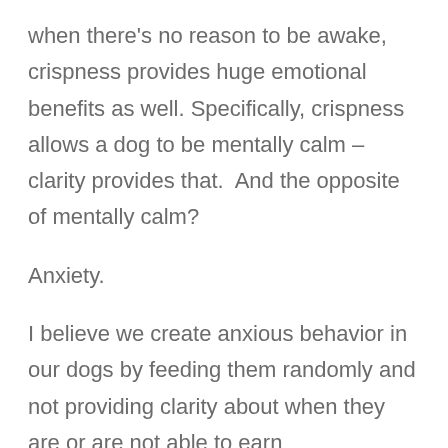when there's no reason to be awake, crispness provides huge emotional benefits as well. Specifically, crispness allows a dog to be mentally calm – clarity provides that.  And the opposite of mentally calm?
Anxiety.
I believe we create anxious behavior in our dogs by feeding them randomly and not providing clarity about when they are or are not able to earn